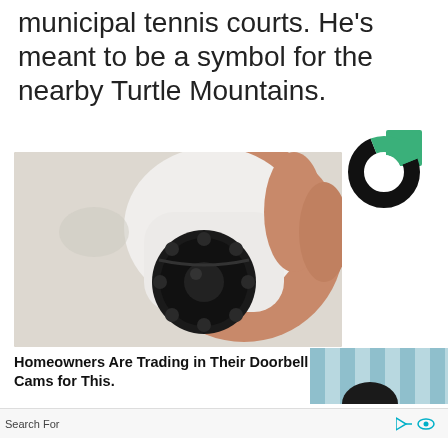municipal tennis courts. He's meant to be a symbol for the nearby Turtle Mountains.
[Figure (logo): Circular donut chart logo with black and green segments]
[Figure (photo): A hand holding a small white dome security/surveillance camera showing black lens with multiple LED lights]
Homeowners Are Trading in Their Doorbell Cams for This.
[Figure (photo): Partial photo showing a person's head and background with vertical bars]
Search For
Stocks With Highest Dividends
No.1 Stock To Buy Now